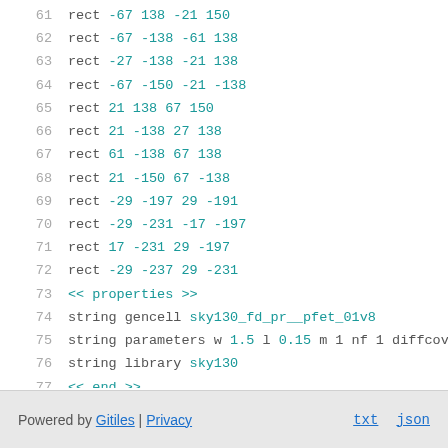61    rect -67 138 -21 150
62    rect -67 -138 -61 138
63    rect -27 -138 -21 138
64    rect -67 -150 -21 -138
65    rect 21 138 67 150
66    rect 21 -138 27 138
67    rect 61 -138 67 138
68    rect 21 -150 67 -138
69    rect -29 -197 29 -191
70    rect -29 -231 -17 -197
71    rect 17 -231 29 -197
72    rect -29 -237 29 -231
73    << properties >>
74    string gencell sky130_fd_pr__pfet_01v8
75    string parameters w 1.5 l 0.15 m 1 nf 1 diffcov
76    string library sky130
77    << end >>
Powered by Gitiles | Privacy    txt  json